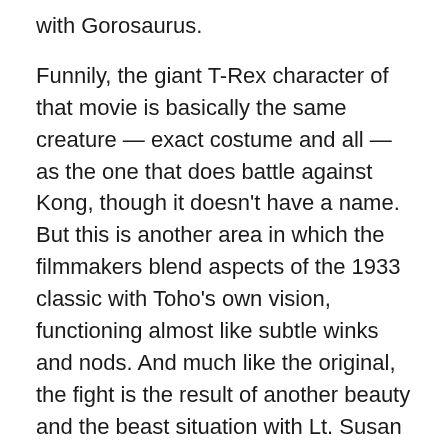with Gorosaurus.
Funnily, the giant T-Rex character of that movie is basically the same creature — exact costume and all — as the one that does battle against Kong, though it doesn't have a name. But this is another area in which the filmmakers blend aspects of the 1933 classic with Toho's own vision, functioning almost like subtle winks and nods. And much like the original, the fight is the result of another beauty and the beast situation with Lt. Susan Watson (Linda Miller) loosely standing in for Fay Wray's Ann Darrow. It's love at first sight for the massive gorilla — something about the blonde hair and fair skin — because he's instantly protective of her. Later, Honda and his team design one final battle for Kong atop the Tokyo Tower which